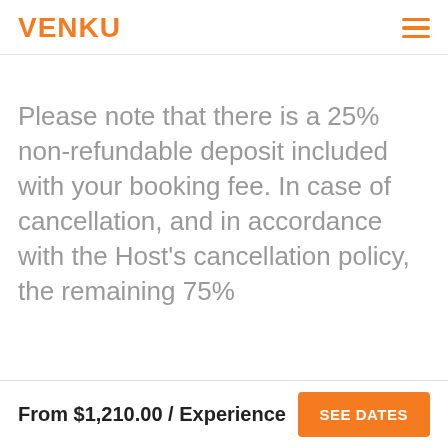VENKU
Please note that there is a 25% non-refundable deposit included with your booking fee. In case of cancellation, and in accordance with the Host's cancellation policy, the remaining 75%
From $1,210.00 / Experience  SEE DATES